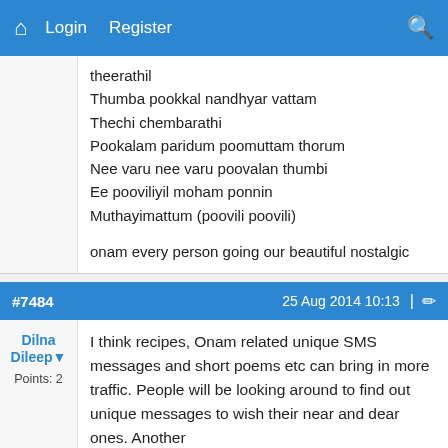Home  Login  Register  [Search]
theerathil
Thumba pookkal nandhyar vattam
Thechi chembarathi
Pookalam paridum poomuttam thorum
Nee varu nee varu poovalan thumbi
Ee pooviliyil moham ponnin
Muthayimattum (poovili poovili)

onam every person going our beautiful nostalgic
#7484   25 Aug 2014 10:13
Dilna Dileep
Points: 2

I think recipes, Onam related unique SMS messages and short poems etc can bring in more traffic. People will be looking around to find out unique messages to wish their near and dear ones. Another